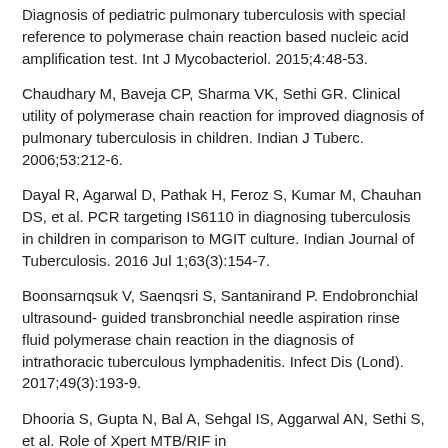Diagnosis of pediatric pulmonary tuberculosis with special reference to polymerase chain reaction based nucleic acid amplification test. Int J Mycobacteriol. 2015;4:48-53.
Chaudhary M, Baveja CP, Sharma VK, Sethi GR. Clinical utility of polymerase chain reaction for improved diagnosis of pulmonary tuberculosis in children. Indian J Tuberc. 2006;53:212-6.
Dayal R, Agarwal D, Pathak H, Feroz S, Kumar M, Chauhan DS, et al. PCR targeting IS6110 in diagnosing tuberculosis in children in comparison to MGIT culture. Indian Journal of Tuberculosis. 2016 Jul 1;63(3):154-7.
Boonsarnqsuk V, Saenqsri S, Santanirand P. Endobronchial ultrasound- guided transbronchial needle aspiration rinse fluid polymerase chain reaction in the diagnosis of intrathoracic tuberculous lymphadenitis. Infect Dis (Lond). 2017;49(3):193-9.
Dhooria S, Gupta N, Bal A, Sehgal IS, Aggarwal AN, Sethi S, et al. Role of Xpert MTB/RIF in